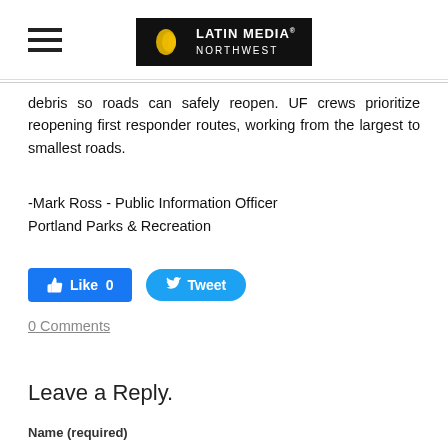Latin Media Northwest
debris so roads can safely reopen. UF crews prioritize reopening first responder routes, working from the largest to smallest roads.
-Mark Ross - Public Information Officer
Portland Parks & Recreation
[Figure (other): Facebook Like button showing 0 likes and Twitter Tweet button]
0 Comments
Leave a Reply.
Name (required)